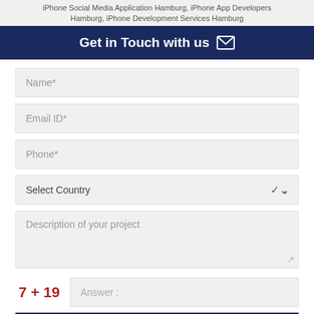iPhone Social Media Application Hamburg, iPhone App Developers Hamburg, iPhone Development Services Hamburg
Get in Touch with us
Name*
Email ID*
Phone*
Select Country
Description of your project
7 + 19   Answer :
SUBMIT